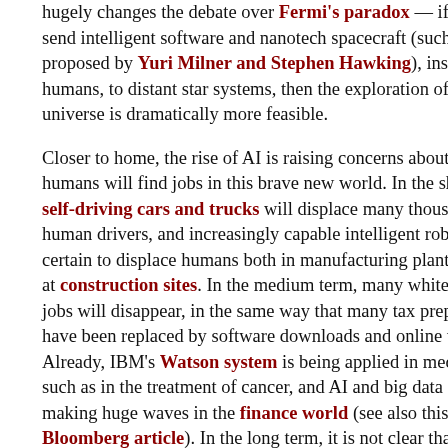hugely changes the debate over Fermi's paradox — if we can send intelligent software and nanotech spacecraft (such as those proposed by Yuri Milner and Stephen Hawking), instead of humans, to distant star systems, then the exploration of the universe is dramatically more feasible.

Closer to home, the rise of AI is raising concerns about how humans will find jobs in this brave new world. In the short run, self-driving cars and trucks will displace many thousands of human drivers, and increasingly capable intelligent robots are certain to displace humans both in manufacturing plants and also at construction sites. In the medium term, many white collar jobs will disappear, in the same way that many tax preparers have been replaced by software downloads and online tools. Already, IBM's Watson system is being applied in medicine, such as in the treatment of cancer, and AI and big data are making huge waves in the finance world (see also this Bloomberg article). In the long term, it is not clear that any job...